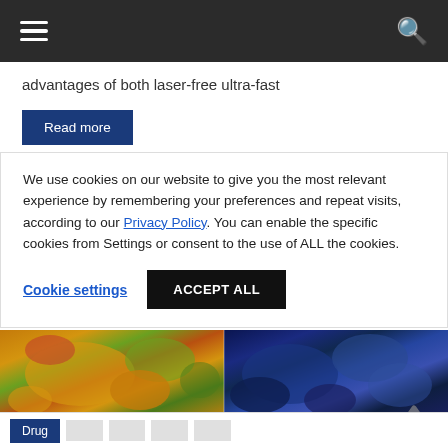Navigation bar with hamburger menu and search icon
advantages of both laser-free ultra-fast
Read more
We use cookies on our website to give you the most relevant experience by remembering your preferences and repeat visits, according to our Privacy Policy. You can enable the specific cookies from Settings or consent to the use of ALL the cookies.
Cookie settings
ACCEPT ALL
[Figure (photo): Split microscopy image: left half shows golden/orange and green fluorescence micrograph of tissue; right half shows blue/dark tones fluorescence micrograph of similar tissue]
Drug